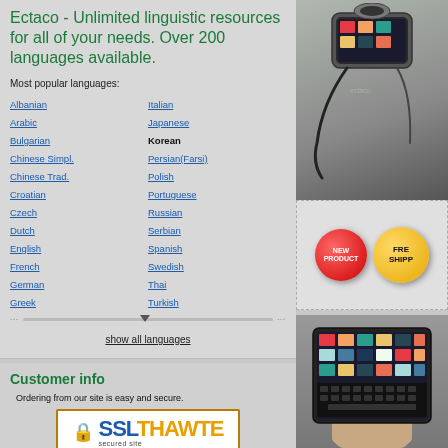Ectaco - Unlimited linguistic resources for all of your needs. Over 200 languages available.
Most popular languages:
Albanian
Arabic
Bulgarian
Chinese Simpl.
Chinese Trad.
Croatian
Czech
Dutch
English
French
German
Greek
Italian
Japanese
Korean
Persian(Farsi)
Polish
Portuguese
Russian
Serbian
Spanish
Swedish
Thai
Turkish
show all languages
Customer info
Ordering from our site is easy and secure.
[Figure (logo): SSL Thawte secured site badge]
If you are unable to access the page with the order form, please install SSL support on your browser.
[Figure (photo): Ectaco device with headset/microphone attachment]
[Figure (infographic): NEW PRODUCT badge (red circular) and FREE SHIPPING badge (gold circular)]
[Figure (photo): Ectaco tablet device with colorful app icons and keyboard]